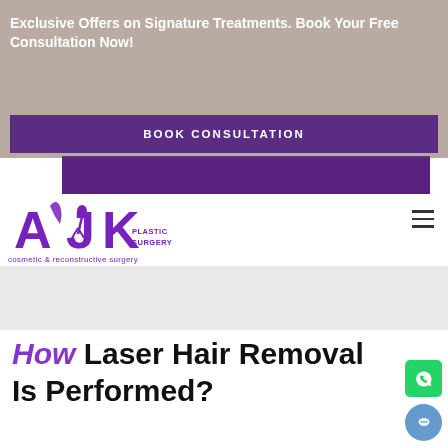images can not be showcased publicly on digital platforms in compliance with the ... can request to see the before-after
Exclusive Offers on Signature Treatments. Book Your Free Consultation Now!
BOOK CONSULTATION
[Figure (logo): AK Plastic Surgery cosmetic & reconstructive surgery logo in purple]
How Laser Hair Removal Is Performed?